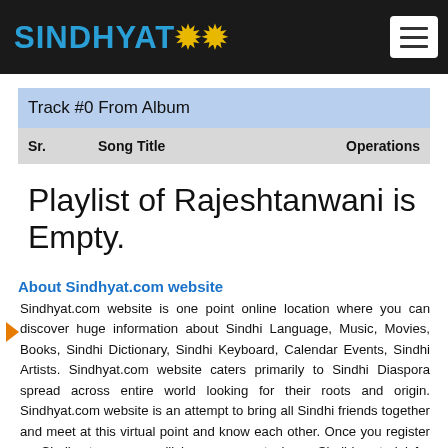SINDHYAT (logo with flower icon) — navigation bar with hamburger menu
| Sr. | Song Title | Operations |
| --- | --- | --- |
Playlist of Rajeshtanwani is Empty.
About Sindhyat.com website
Sindhyat.com website is one point online location where you can discover huge information about Sindhi Language, Music, Movies, Books, Sindhi Dictionary, Sindhi Keyboard, Calendar Events, Sindhi Artists. Sindhyat.com website caters primarily to Sindhi Diaspora spread across entire world looking for their roots and origin. Sindhyat.com website is an attempt to bring all Sindhi friends together and meet at this virtual point and know each other. Once you register on Sindhyat.com you will have access to huge Sindhi material for reference and